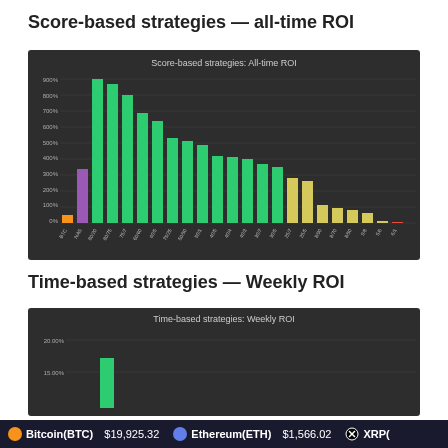Score-based strategies — all-time ROI
[Figure (bar-chart): Score-based strategies: All-time ROI]
Time-based strategies — Weekly ROI
[Figure (bar-chart): Time-based strategies: Weekly ROI]
Bitcoin(BTC)  $19,925.32    Ethereum(ETH)  $1,566.02    XRP(